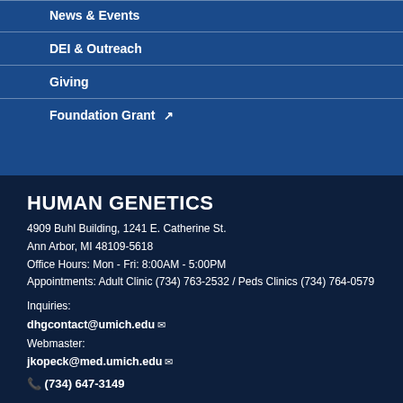News & Events
DEI & Outreach
Giving
Foundation Grant ↗
HUMAN GENETICS
4909 Buhl Building, 1241 E. Catherine St.
Ann Arbor, MI 48109-5618
Office Hours: Mon - Fri: 8:00AM - 5:00PM
Appointments: Adult Clinic (734) 763-2532 / Peds Clinics (734) 764-0579
Inquiries:
dhgcontact@umich.edu
Webmaster:
jkopeck@med.umich.edu
(734) 647-3149